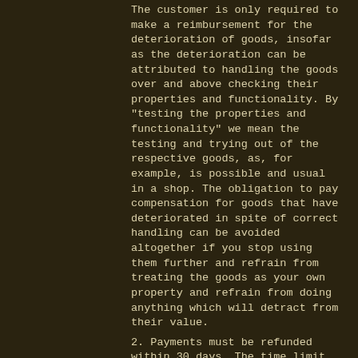The customer is only required to make a reimbursement for the deterioration of goods, insofar as the deterioration can be attributed to handling the goods over and above checking their properties and functionality. By "testing the properties and functionality" we mean the testing and trying out of the respective goods, as, for example, is possible and usual in a shop. The obligation to pay compensation for goods that have deteriorated in spite of correct handling can be avoided altogether if you stop using them further and refrain from treating the goods as your own property and refrain from doing anything which will detract from their value.
2. Payments must be refunded within 30 days. The time limit begins for you with the despatch of your notice of revocation or the goods, for us with their receipt.
3. Return costs are your responsibility if the goods supplied correspond with those ordered and if the price of the items to be returned does not exceed a value of 40 Euros. In all other cases the cost of